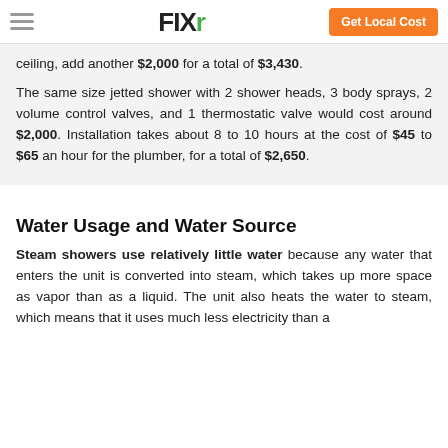FIXR — Get Local Cost
ceiling, add another $2,000 for a total of $3,430.
The same size jetted shower with 2 shower heads, 3 body sprays, 2 volume control valves, and 1 thermostatic valve would cost around $2,000. Installation takes about 8 to 10 hours at the cost of $45 to $65 an hour for the plumber, for a total of $2,650.
Water Usage and Water Source
Steam showers use relatively little water because any water that enters the unit is converted into steam, which takes up more space as vapor than as a liquid. The unit also heats the water to steam, which means that it uses much less electricity than a